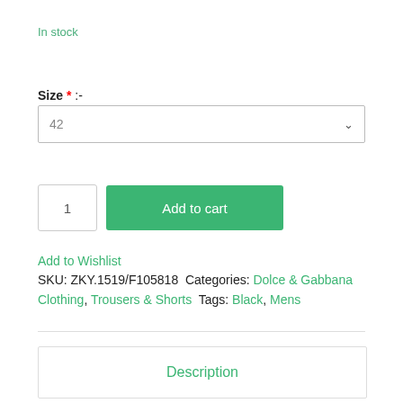In stock
Size * :-
42
1
Add to cart
Add to Wishlist
SKU: ZKY.1519/F105818 Categories: Dolce & Gabbana Clothing, Trousers & Shorts Tags: Black, Mens
Description